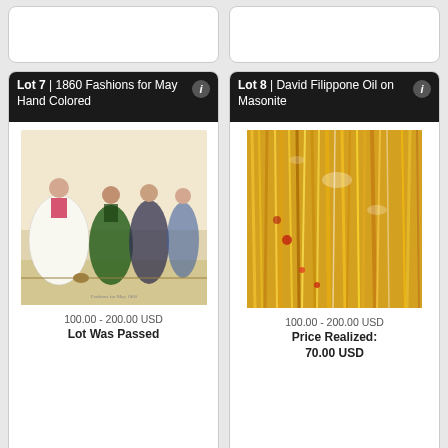[Figure (photo): Partial top card (previous lot, top portion cut off) - left side]
[Figure (photo): Partial top card (previous lot, top portion cut off) - right side]
Lot 7 | 1860 Fashions for May Hand Colored
[Figure (illustration): 1860 hand colored fashion illustration showing Victorian women in period dresses]
100.00 - 200.00 USD
Lot Was Passed
Lot 8 | David Filippone Oil on Masonite
[Figure (photo): Abstract oil painting on masonite with yellow, gold and red brushstrokes]
100.00 - 200.00 USD
Price Realized: 70.00 USD
Lot 9 | William Auerbach-Levy Oil on Canvas
Lot 10 | Stanley Wyatt Drawing on Paper